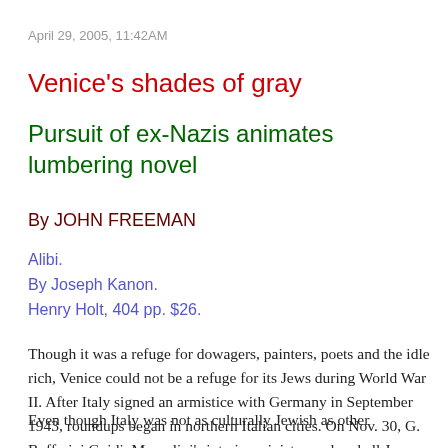April 29, 2005, 11:42AM
Venice's shades of gray
Pursuit of ex-Nazis animates lumbering novel
By JOHN FREEMAN
Alibi.
By Joseph Kanon.
Henry Holt, 404 pp. $26.
Though it was a refuge for dowagers, painters, poets and the idle rich, Venice could not be a refuge for its Jews during World War II. After Italy signed an armistice with Germany in September 1943, roundups began in northern Italian cities. On Nov. 30, G. Buffarini Guidi, Mussolini's interior minister, ordered all Jews sent to camps.
Even though Italy was not as culturally Jewish as other